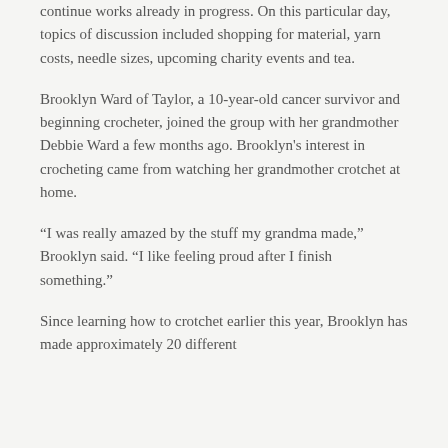continue works already in progress. On this particular day, topics of discussion included shopping for material, yarn costs, needle sizes, upcoming charity events and tea.
Brooklyn Ward of Taylor, a 10-year-old cancer survivor and beginning crocheter, joined the group with her grandmother Debbie Ward a few months ago. Brooklyn's interest in crocheting came from watching her grandmother crotchet at home.
“I was really amazed by the stuff my grandma made,” Brooklyn said. “I like feeling proud after I finish something.”
Since learning how to crotchet earlier this year, Brooklyn has made approximately 20 different